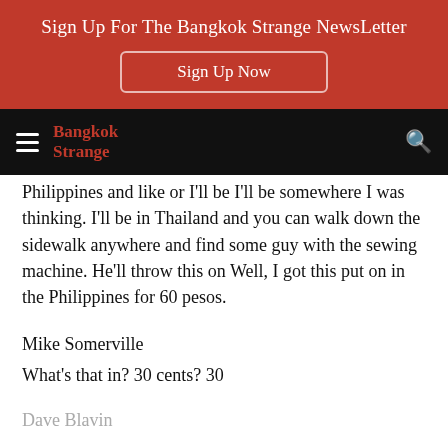Sign Up For The Bangkok Strange NewsLetter
Sign Up Now
Bangkok Strange
Philippines and like or I'll be I'll be somewhere I was thinking. I'll be in Thailand and you can walk down the sidewalk anywhere and find some guy with the sewing machine. He'll throw this on Well, I got this put on in the Philippines for 60 pesos.
Mike Somerville
What's that in? 30 cents? 30
Dave Blavin